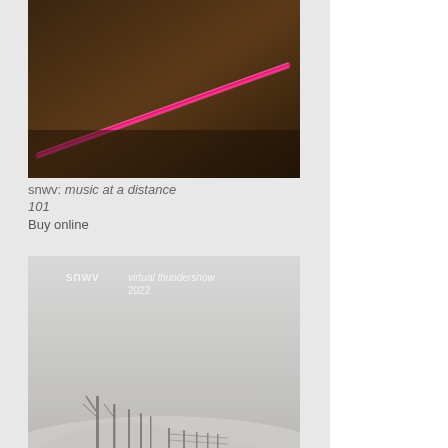[Figure (photo): Dark background with a bright pink/magenta diagonal light streak across a dark warm-toned surface. Album cover for snwv: music at a distance 101.]
snwv: music at a distance 101
Buy online
[Figure (photo): Black and white winter landscape showing snow-covered field with bare trees and a fence disappearing into the distance. Album cover for snwv: virtual thundersnow 2022.]
snwv: virtual thundersnow 2022
Buy online
[Figure (photo): Dark warm-toned image showing flowing organic forms or smoke-like textures. Album cover for snwv: music at a distance 100, February 14, 2022.]
snwv: music at a distance